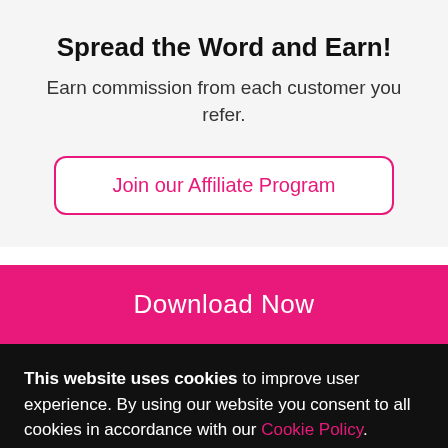Spread the Word and Earn!
Earn commission from each customer you refer.
Join our Affiliate Program
Download Now
This website uses cookies to improve user experience. By using our website you consent to all cookies in accordance with our Cookie Policy.
ACCEPT ALL
DECLINE